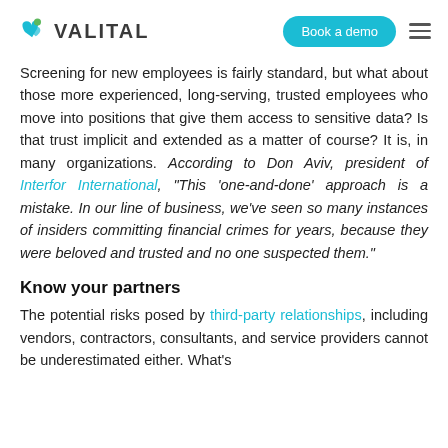VALITAL | Book a demo
Screening for new employees is fairly standard, but what about those more experienced, long-serving, trusted employees who move into positions that give them access to sensitive data? Is that trust implicit and extended as a matter of course? It is, in many organizations. According to Don Aviv, president of Interfor International, "This 'one-and-done' approach is a mistake. In our line of business, we've seen so many instances of insiders committing financial crimes for years, because they were beloved and trusted and no one suspected them."
Know your partners
The potential risks posed by third-party relationships, including vendors, contractors, consultants, and service providers cannot be underestimated either. What's